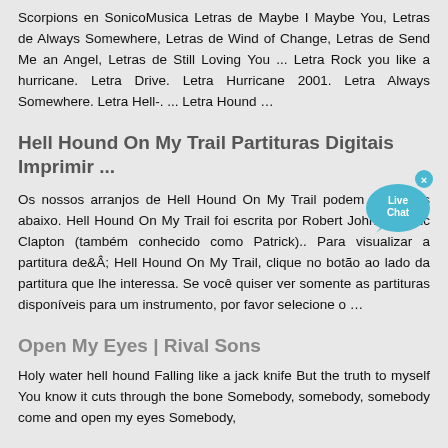Scorpions en SonicoMusica Letras de Maybe I Maybe You, Letras de Always Somewhere, Letras de Wind of Change, Letras de Send Me an Angel, Letras de Still Loving You ... Letra Rock you like a hurricane. Letra Drive. Letra Hurricane 2001. Letra Always Somewhere. Letra Hell-. ... Letra Hound …
Hell Hound On My Trail Partituras Digitais Imprimir ...
[Figure (infographic): Live Chat bubble icon with 'Live Chat' text and a close (x) button]
Os nossos arranjos de Hell Hound On My Trail podem ser vistos abaixo. Hell Hound On My Trail foi escrita por Robert Johnson, Eric Clapton (também conhecido como Patrick).. Para visualizar a partitura de  Hell Hound On My Trail, clique no botão ao lado da partitura que lhe interessa. Se você quiser ver somente as partituras disponíveis para um instrumento, por favor selecione o …
Open My Eyes | Rival Sons
Holy water hell hound Falling like a jack knife But the truth to myself You know it cuts through the bone Somebody, somebody, somebody come and open my eyes Somebody,